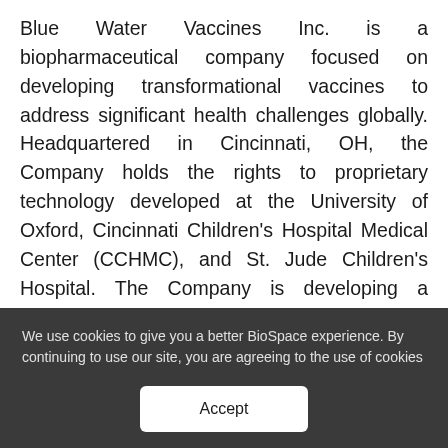Blue Water Vaccines Inc. is a biopharmaceutical company focused on developing transformational vaccines to address significant health challenges globally. Headquartered in Cincinnati, OH, the Company holds the rights to proprietary technology developed at the University of Oxford, Cincinnati Children's Hospital Medical Center (CCHMC), and St. Jude Children's Hospital. The Company is developing a universal flu vaccine that will provide protection from all virulent strains in
We use cookies to give you a better BioSpace experience. By continuing to use our site, you are agreeing to the use of cookies as set in our Privacy Policy.
Accept